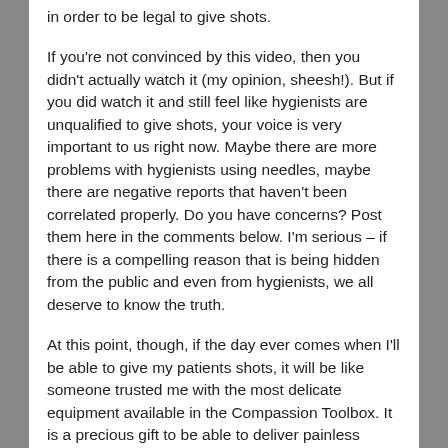in order to be legal to give shots.
If you're not convinced by this video, then you didn't actually watch it (my opinion, sheesh!). But if you did watch it and still feel like hygienists are unqualified to give shots, your voice is very important to us right now. Maybe there are more problems with hygienists using needles, maybe there are negative reports that haven't been correlated properly. Do you have concerns? Post them here in the comments below. I'm serious – if there is a compelling reason that is being hidden from the public and even from hygienists, we all deserve to know the truth.
At this point, though, if the day ever comes when I'll be able to give my patients shots, it will be like someone trusted me with the most delicate equipment available in the Compassion Toolbox. It is a precious gift to be able to deliver painless dental care, and for those in the caring business (which most of medicine is, if you think about it)